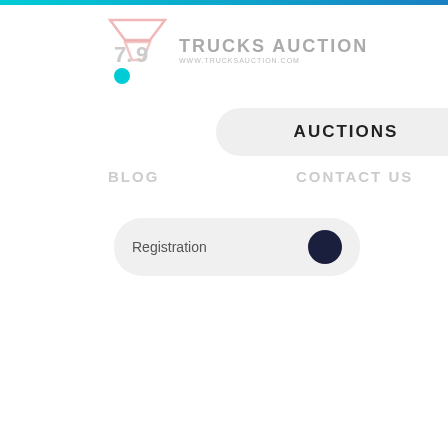[Figure (logo): Trucks Auction logo with stylized triangle/filter icon and teal dot, with brand name TRUCKS AUCTION and website www.trucksauction.com]
AUCTIONS
BLOG
CONTACT US
Registration